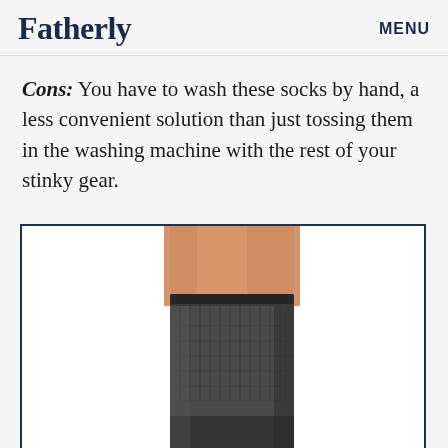Fatherly   MENU
Cons: You have to wash these socks by hand, a less convenient solution than just tossing them in the washing machine with the rest of your stinky gear.
[Figure (photo): Close-up photo of a leg wearing a dark charcoal grey crew-length wool sock against a white background, shown from mid-calf down, displayed inside a navy-bordered rectangle.]